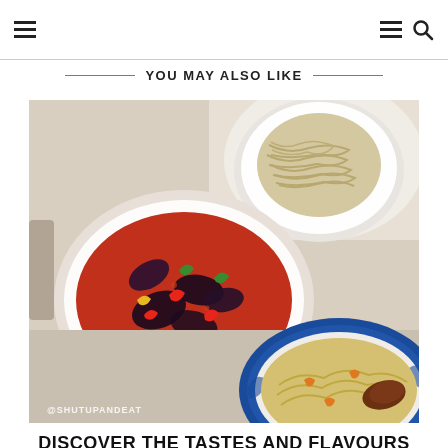≡  ≡ 🔍
YOU MAY ALSO LIKE
[Figure (photo): Overhead photo of Asian dishes on a table: a bowl of spicy eggplant and pepper stew in red sauce, a plate of plain noodles, and a decorative blue-and-white plate with fried rice and meat. Watermark '@SHUTUPANDEAT' in bottom left.]
DISCOVER THE TASTES AND FLAVOURS OF THE SILK...